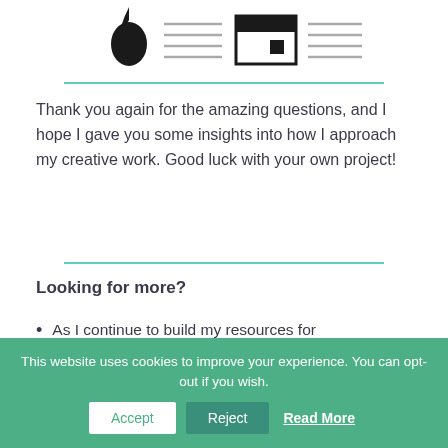[Figure (illustration): Header illustration with a dark drop/teardrop shape on the left, horizontal lines in the center, a small screen/window icon in the middle-right, and more horizontal lines to the right.]
Thank you again for the amazing questions, and I hope I gave you some insights into how I approach my creative work. Good luck with your own project!
Looking for more?
As I continue to build my resources for
This website uses cookies to improve your experience. You can opt-out if you wish. Accept Reject Read More